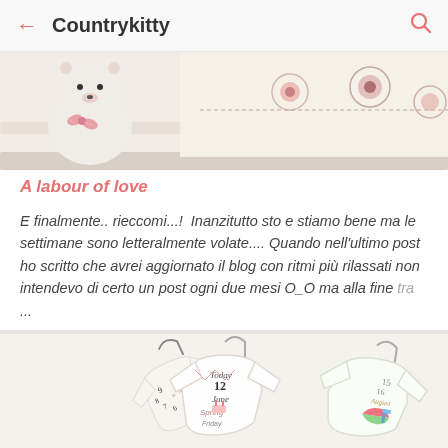← Countrykitty 🔍
[Figure (photo): Photo of a white teddy bear with a pink bow next to a crocheted blanket with pink flower motifs, hanging on a white crib railing.]
A labour of love
E finalmente.. rieccomi...!  Inanzitutto sto e stiamo bene ma le settimane sono letteralmente volate.... Quando nell'ultimo post ho scritto che avrei aggiornato il blog con ritmi più rilassati non intendevo di certo un post ogni due mesi O_O ma alla fine tra ...
[Figure (photo): Photo of decorative calendar/date hangers shaped like baby onesies with illustrated seasonal themes (Spring, Summer months), showing dates like 'Today 12 June', '15', '16 August', 'Friday'.]